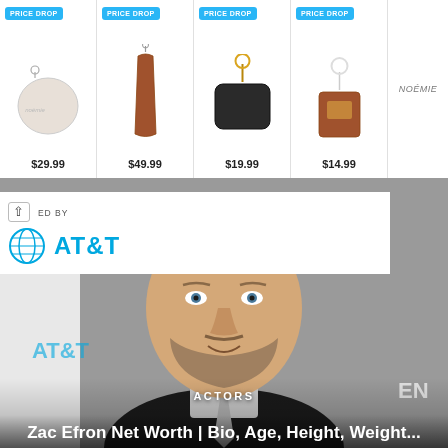[Figure (photo): Advertisement banner showing four leather accessory products with PRICE DROP badges and prices: $29.99, $49.99, $19.99, $14.99. Brand: NOÉMIE. Arrow icon top right.]
[Figure (logo): AT&T logo with globe icon and blue AT&T text, preceded by a chevron up arrow and 'CURATED BY' label]
[Figure (photo): Photo of a male celebrity (Zac Efron) with bleached/platinum hair, beard, wearing a dark suit and light tie, smiling, at what appears to be a red carpet event with AT&T branding in background.]
ACTORS
Zac Efron Net Worth | Bio, Age, Height, Weight...